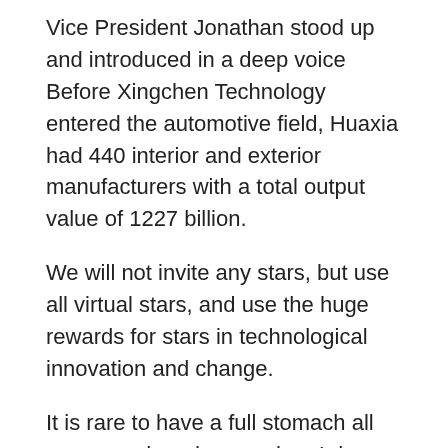Vice President Jonathan stood up and introduced in a deep voice Before Xingchen Technology entered the automotive field, Huaxia had 440 interior and exterior manufacturers with a total output value of 1227 billion.
We will not invite any stars, but use all virtual stars, and use the huge rewards for stars in technological innovation and change.
It is rare to have a full stomach all year round, and even when I dream, I dream of eating pig trotters.
Frequent discharges to male guests.In short, An Ran and Luo Jia have never heard of these what male enhancement pills are safe gossips, and they do not does horny goat weed increase blood pressure even know the names of tex male enhancement celebrities.
Liquor is more than 10,000 yuan, wild carp is more than 8,000 yuan, and the bill is tens of thousands of yuan at a time.